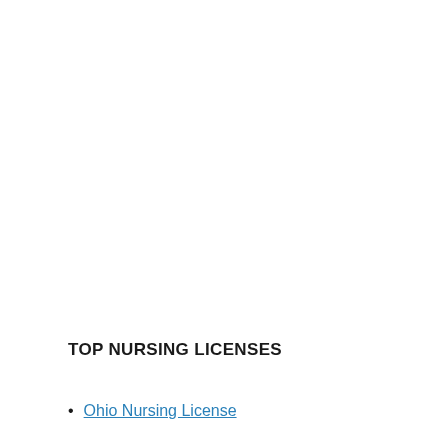TOP NURSING LICENSES
Ohio Nursing License